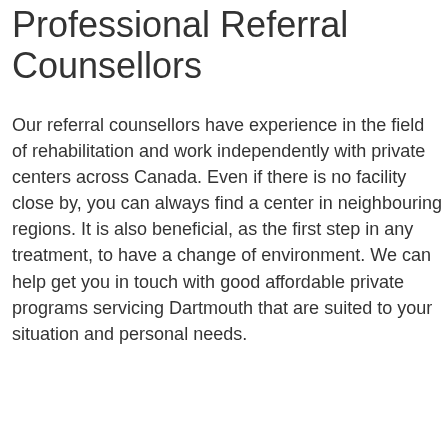Professional Referral Counsellors
Our referral counsellors have experience in the field of rehabilitation and work independently with private centers across Canada. Even if there is no facility close by, you can always find a center in neighbouring regions. It is also beneficial, as the first step in any treatment, to have a change of environment. We can help get you in touch with good affordable private programs servicing Dartmouth that are suited to your situation and personal needs.